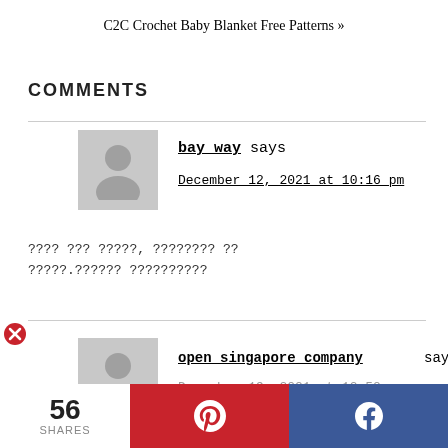C2C Crochet Baby Blanket Free Patterns »
COMMENTS
bay way says
December 12, 2021 at 10:16 pm

???? ??? ?????, ???????? ?? ?????.?????? ??????????
open singapore company says
December 19, 2021 at 10:50